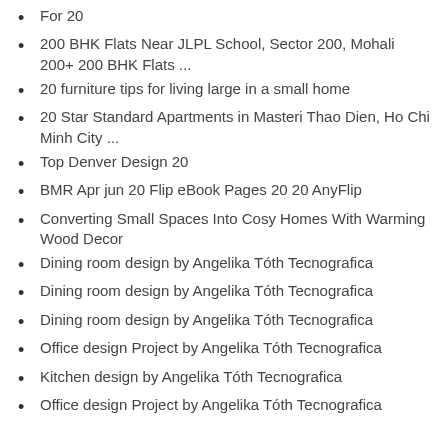For 20
200 BHK Flats Near JLPL School, Sector 200, Mohali 200+ 200 BHK Flats ...
20 furniture tips for living large in a small home
20 Star Standard Apartments in Masteri Thao Dien, Ho Chi Minh City ...
Top Denver Design 20
BMR Apr jun 20 Flip eBook Pages 20 20 AnyFlip
Converting Small Spaces Into Cosy Homes With Warming Wood Decor
Dining room design by Angelika Tóth Tecnografica
Dining room design by Angelika Tóth Tecnografica
Dining room design by Angelika Tóth Tecnografica
Office design Project by Angelika Tóth Tecnografica
Kitchen design by Angelika Tóth Tecnografica
Office design Project by Angelika Tóth Tecnografica